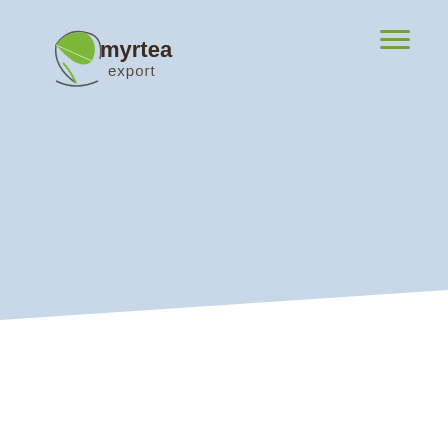[Figure (logo): Myrtea Export logo — green leaf with circular stem on left, bold dark brown text 'myrtea' and lighter 'export' below]
[Figure (other): Hamburger menu icon — three horizontal green lines stacked]